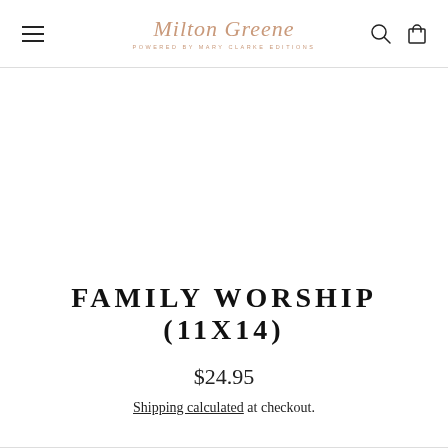Milton Greene — powered by Mary Clarke Editions
FAMILY WORSHIP (11X14)
$24.95
Shipping calculated at checkout.